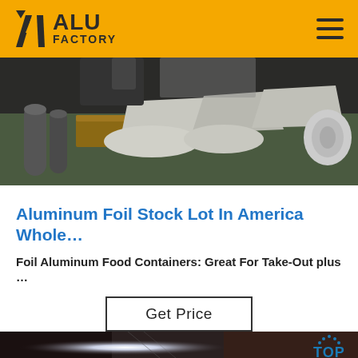ALU FACTORY
[Figure (photo): Industrial workspace with aluminum foil rolls, sheets, and manufacturing materials on a table]
Aluminum Foil Stock Lot In America Whole…
Foil Aluminum Food Containers: Great For Take-Out plus …
Get Price
[Figure (photo): Industrial machinery with bright light, and a TOP badge overlay in the bottom right corner]